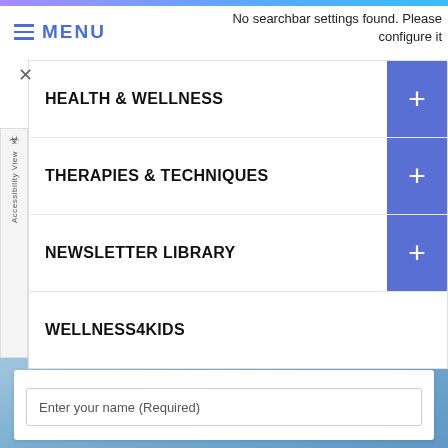MENU
COMMON CONDITIONS TREATED
No searchbar settings found. Please configure it
HEALTH & WELLNESS
THERAPIES & TECHNIQUES
NEWSLETTER LIBRARY
WELLNESS4KIDS
Enter your name (Required)